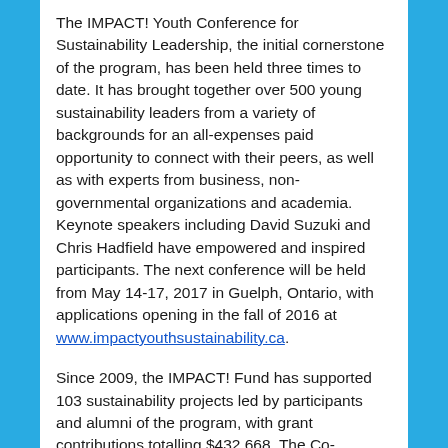The IMPACT! Youth Conference for Sustainability Leadership, the initial cornerstone of the program, has been held three times to date. It has brought together over 500 young sustainability leaders from a variety of backgrounds for an all-expenses paid opportunity to connect with their peers, as well as with experts from business, non-governmental organizations and academia. Keynote speakers including David Suzuki and Chris Hadfield have empowered and inspired participants. The next conference will be held from May 14-17, 2017 in Guelph, Ontario, with applications opening in the fall of 2016 at www.impactyouthsustainability.ca.
Since 2009, the IMPACT! Fund has supported 103 sustainability projects led by participants and alumni of the program, with grant contributions totalling $432,668. The Co-operators has committed an additional $380,000 to the fund over the next four years to